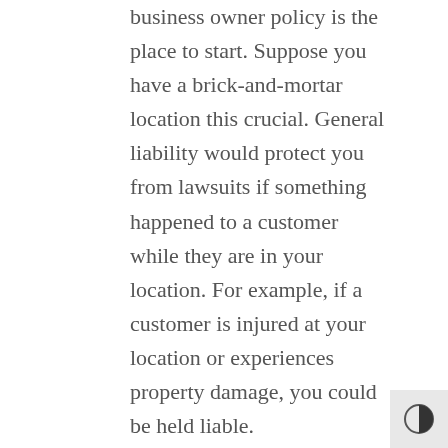business owner policy is the place to start. Suppose you have a brick-and-mortar location this crucial. General liability would protect you from lawsuits if something happened to a customer while they are in your location. For example, if a customer is injured at your location or experiences property damage, you could be held liable.
If you don't currently have a business owner policy, have you thought about what you would do if your building caught on fire? Would you be able to afford the cost to rebuild or repair? This is generally where commercial property insurance would come in handy to cover those unforeseeable circumstances that could leave you hanging high and dry. Commercial property insurance